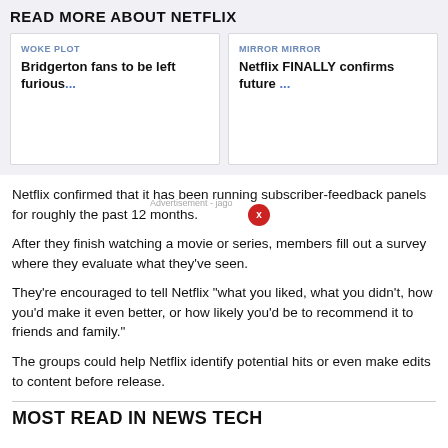READ MORE ABOUT NETFLIX
WOKE PLOT
Bridgerton fans to be left furious...
MIRROR MIRROR
Netflix FINALLY confirms future ...
Netflix confirmed that it has been running subscriber-feedback panels for roughly the past 12 months.
After they finish watching a movie or series, members fill out a survey where they evaluate what they've seen.
They're encouraged to tell Netflix "what you liked, what you didn't, how you'd make it even better, or how likely you'd be to recommend it to friends and family."
The groups could help Netflix identify potential hits or even make edits to content before release.
MOST READ IN NEWS TECH